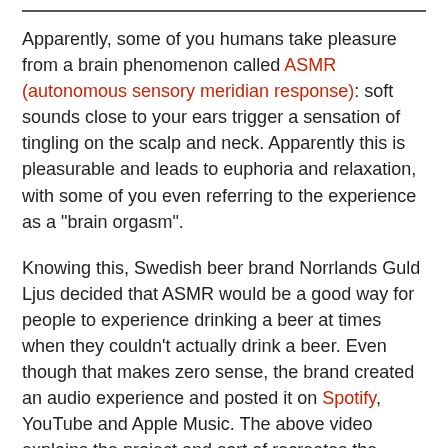Apparently, some of you humans take pleasure from a brain phenomenon called ASMR (autonomous sensory meridian response): soft sounds close to your ears trigger a sensation of tingling on the scalp and neck. Apparently this is pleasurable and leads to euphoria and relaxation, with some of you even referring to the experience as a "brain orgasm".
Knowing this, Swedish beer brand Norrlands Guld Ljus decided that ASMR would be a good way for people to experience drinking a beer at times when they couldn't actually drink a beer. Even though that makes zero sense, the brand created an audio experience and posted it on Spotify, YouTube and Apple Music. The above video explains the project and sort of recreates the audio experience in English, but Ad Nut implores you to listen on Spotify for the fully produced experience, in Swedish.
Shudder. Ad Nut tries not to judge. But seriously, what in the